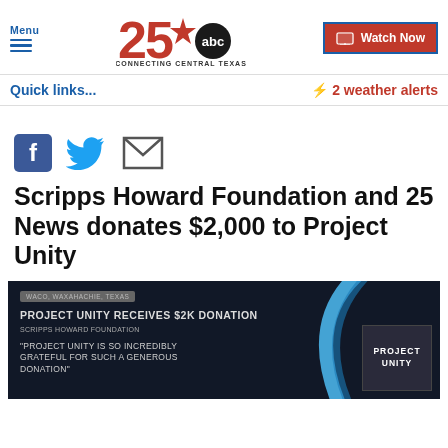Menu | 25 ABC CONNECTING CENTRAL TEXAS | Watch Now
Quick links...
⚡ 2 weather alerts
[Figure (screenshot): Social share icons: Facebook, Twitter, Email]
Scripps Howard Foundation and 25 News donates $2,000 to Project Unity
[Figure (screenshot): Dark video thumbnail showing 'PROJECT UNITY RECEIVES $2K DONATION' with SCRIPPS HOWARD FOUNDATION text and a quote 'PROJECT UNITY IS SO INCREDIBLY GRATEFUL FOR SUCH A GENEROUS DONATION' with blue arc graphic and Project Unity logo]